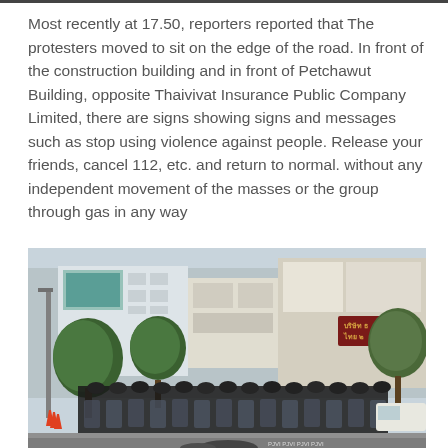Most recently at 17.50, reporters reported that The protesters moved to sit on the edge of the road. In front of the construction building and in front of Petchawut Building, opposite Thaivivat Insurance Public Company Limited, there are signs showing signs and messages such as stop using violence against people. Release your friends, cancel 112, etc. and return to normal. without any independent movement of the masses or the group through gas in any way
[Figure (photo): Outdoor street scene showing a line of riot police in full gear with shields standing in front of commercial buildings and trees. A dark red sign with Thai script is visible on a building. Trees line the street and traffic cones are visible on the left.]